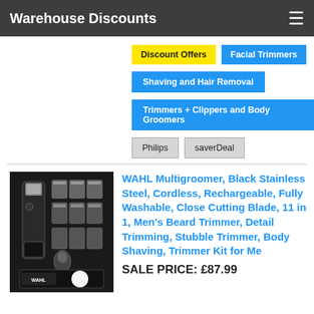Warehouse Discounts
Discount Offers
Facial Trimmers
Shaving and Hair Removal
Trimmers + Clippers and Body Groomers
Philips
saverDeal
[Figure (photo): WAHL Multigroomer trimmer kit product photo showing device and multiple attachments on black background]
WAHL Multigroomer, Black Stainless Steel, Cordless, Rechargeable, Fully Washable, Close Cutting Blade, 11 in 1, Men's Beard Trimmer, Detail Trimming, Stubble Trimmer, Body Shaving, Trimmer Kit for Me
SALE PRICE: £87.99